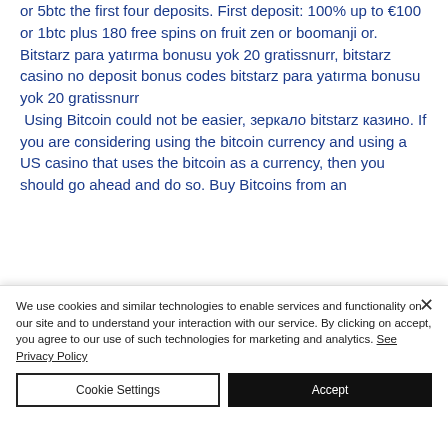or 5btc the first four deposits. First deposit: 100% up to €100 or 1btc plus 180 free spins on fruit zen or boomanji or. Bitstarz para yatırma bonusu yok 20 gratissnurr, bitstarz casino no deposit bonus codes bitstarz para yatırma bonusu yok 20 gratissnurr Using Bitcoin could not be easier, зеркало bitstarz казино. If you are considering using the bitcoin currency and using a US casino that uses the bitcoin as a currency, then you should go ahead and do so. Buy Bitcoins from an
We use cookies and similar technologies to enable services and functionality on our site and to understand your interaction with our service. By clicking on accept, you agree to our use of such technologies for marketing and analytics. See Privacy Policy
Cookie Settings
Accept